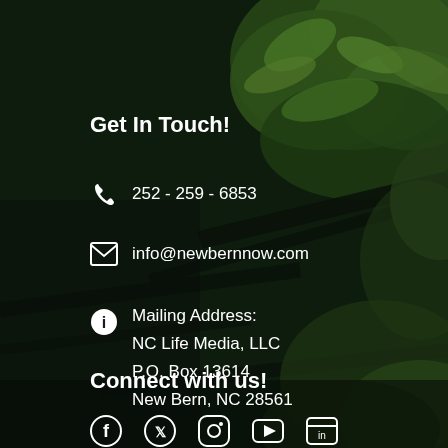[Figure (photo): Dark nature background with green foliage, tree branches and leaves visible against a dark shadowy forest scene]
Get In Touch!
252 - 259 - 6853
info@newbernnow.com
Mailing Address:
NC Life Media, LLC
P.O. Box 13614
New Bern, NC 28561
Connect with us!
[Figure (other): Social media icons row: Facebook, Twitter/X, Instagram, YouTube, and another icon]